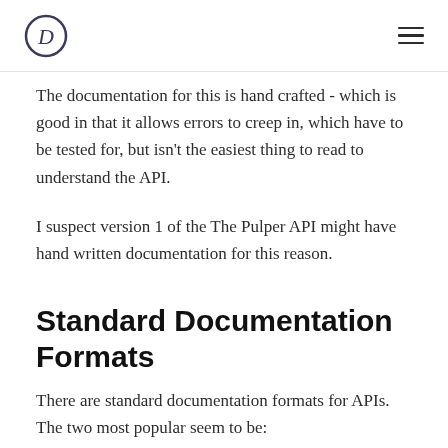[Logo: D] [Hamburger menu]
The documentation for this is hand crafted - which is good in that it allows errors to creep in, which have to be tested for, but isn't the easiest thing to read to understand the API.
I suspect version 1 of the The Pulper API might have hand written documentation for this reason.
Standard Documentation Formats
There are standard documentation formats for APIs. The two most popular seem to be:
Swagger's OpenAPI
API Blueprint